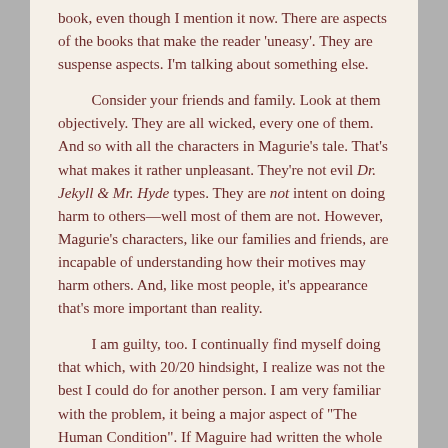book, even though I mention it now. There are aspects of the books that make the reader 'uneasy'. They are suspense aspects. I'm talking about something else.
Consider your friends and family. Look at them objectively. They are all wicked, every one of them. And so with all the characters in Magurie's tale. That's what makes it rather unpleasant. They're not evil Dr. Jekyll & Mr. Hyde types. They are not intent on doing harm to others—well most of them are not. However, Magurie's characters, like our families and friends, are incapable of understanding how their motives may harm others. And, like most people, it's appearance that's more important than reality.
I am guilty, too. I continually find myself doing that which, with 20/20 hindsight, I realize was not the best I could do for another person. I am very familiar with the problem, it being a major aspect of "The Human Condition". If Maguire had written the whole story like I wanted it to turn out, it would have been like the movie, It's A Wonderful Life. Everyone sitting around the kitchen stove eating s'mores.